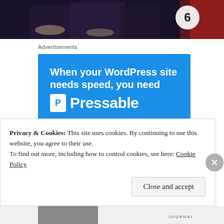[Figure (photo): Top banner image showing people in a dark background with a graphic element]
Advertisements
[Figure (illustration): Pressable advertisement banner with blue background. Text reads: When your WordPress site needs speed, you need Pressable. Includes P logo icon, a green horizontal line, a person flying/diving with a laptop, and a START NOW button with teal border.]
Privacy & Cookies: This site uses cookies. By continuing to use this website, you agree to their use.
To find out more, including how to control cookies, see here: Cookie Policy
Close and accept